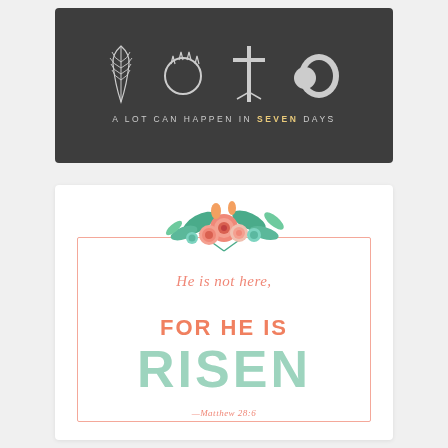[Figure (illustration): Dark grey card with four white Easter icons (palm frond, crown of thorns, cross, empty tomb) above the text 'A LOT CAN HAPPEN IN SEVEN DAYS' with SEVEN highlighted in gold]
[Figure (illustration): White Easter card with floral illustration at top, pink border frame, script text 'He is not here,' in coral/salmon, bold orange text 'FOR HE IS', large mint green bold text 'RISEN', and italic reference 'Matthew 28:6' at bottom]